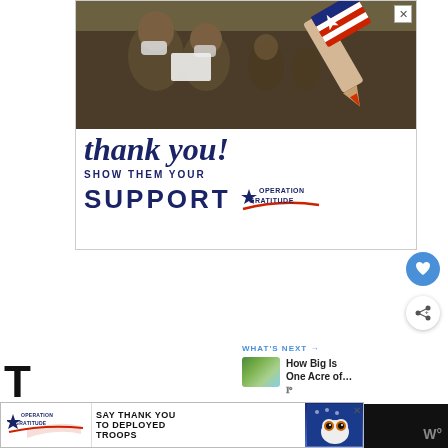[Figure (photo): Operation Gratitude advertisement banner featuring soldiers in military fatigues and masks, with 'thank you!' handwritten text, a pencil graphic with American flag design, text 'SHOW THEM YOUR SUPPORT' and 'OPERATION GRATITUDE' logo]
WHAT'S NEXT →
How Big Is One Acre of...
[Figure (photo): Bottom banner advertisement: Operation Gratitude - SAY THANK YOU TO DEPLOYED TROOPS]